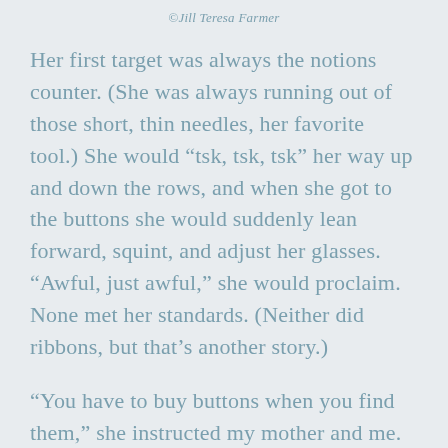©Jill Teresa Farmer
Her first target was always the notions counter. (She was always running out of those short, thin needles, her favorite tool.) She would “tsk, tsk, tsk” her way up and down the rows, and when she got to the buttons she would suddenly lean forward, squint, and adjust her glasses. “Awful, just awful,” she would proclaim. None met her standards. (Neither did ribbons, but that’s another story.)
“You have to buy buttons when you find them,” she instructed my mother and me. “You can’t wait. If you find a nice button in